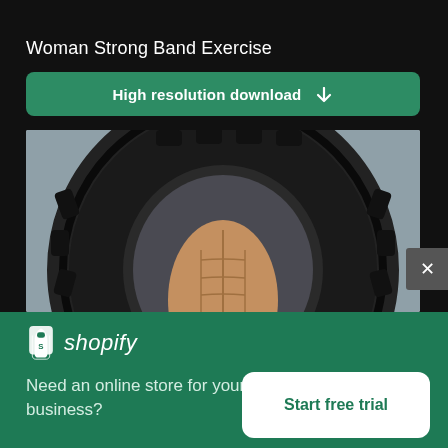[Figure (photo): Top strip showing partial sandy/wooden surface]
Woman Strong Band Exercise
High resolution download ↓
[Figure (photo): A muscular person's torso visible through the hole of a large black tractor tire they are holding up]
[Figure (logo): Shopify logo with bag icon and italic shopify text]
Need an online store for your business?
Start free trial